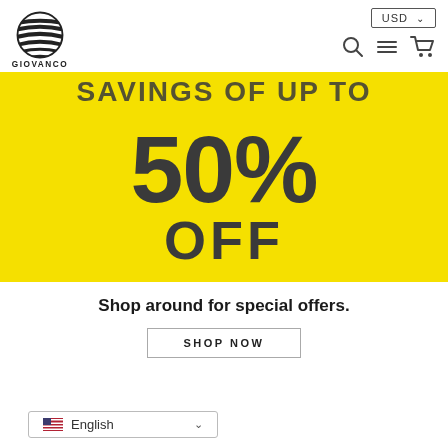[Figure (logo): Giovanco brand logo with horizontal lines forming a circle and the text GIOVANCO below]
[Figure (screenshot): E-commerce navigation bar with USD currency selector, search icon, hamburger menu, and shopping cart icons]
[Figure (infographic): Yellow promotional banner showing SAVINGS OF UP TO 50% OFF in large bold dark text]
Shop around for special offers.
SHOP NOW
English